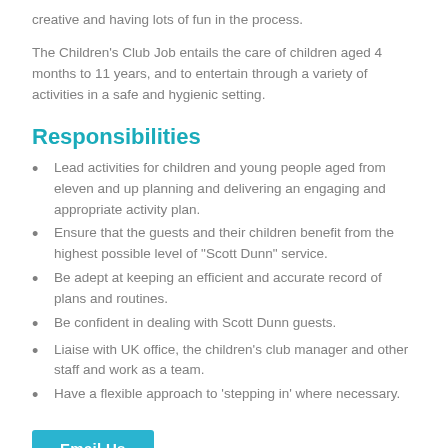creative and having lots of fun in the process.
The Children's Club Job entails the care of children aged 4 months to 11 years, and to entertain through a variety of activities in a safe and hygienic setting.
Responsibilities
Lead activities for children and young people aged from eleven and up planning and delivering an engaging and appropriate activity plan.
Ensure that the guests and their children benefit from the highest possible level of “Scott Dunn” service.
Be adept at keeping an efficient and accurate record of plans and routines.
Be confident in dealing with Scott Dunn guests.
Liaise with UK office, the children’s club manager and other staff and work as a team.
Have a flexible approach to ‘stepping in’ where necessary.
Email Us